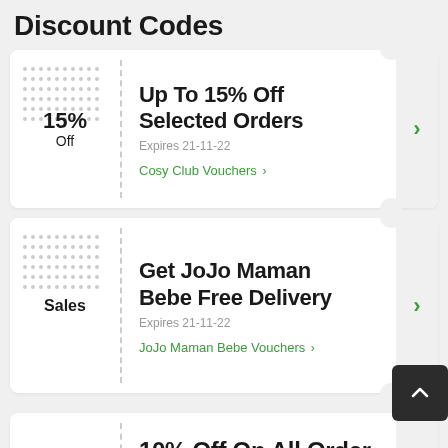Discount Codes
Up To 15% Off Selected Orders
Expires 21-11-22
Cosy Club Vouchers >
Get JoJo Maman Bebe Free Delivery
Expires 21-11-22
JoJo Maman Bebe Vouchers >
10% Off On All Order